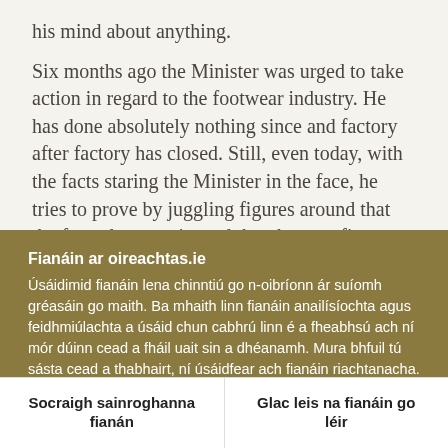his mind about anything.
Six months ago the Minister was urged to take action in regard to the footwear industry. He has done absolutely nothing since and factory after factory has closed. Still, even today, with the facts staring the Minister in the face, he tries to prove by juggling figures around that the facts do not exist and that they are figments of Fianna Fáil imagination. The
Fianáin ar oireachtas.ie
Úsáidimid fianáin lena chinntiú go n-oibríonn ár suíomh gréasáin go maith. Ba mhaith linn fianáin anailísíochta agus feidhmiúlachta a úsáid chun cabhrú linn é a fheabhsú ach ní mór dúinn cead a fháil uait sin a dhéanamh. Mura bhfuil tú sásta cead a thabhairt, ní úsáidfear ach fianáin riachtanacha. Léigh tuileadh faoinár bhfianáin
Socraigh sainroghanna fianán
Glac leis na fianáin go léir